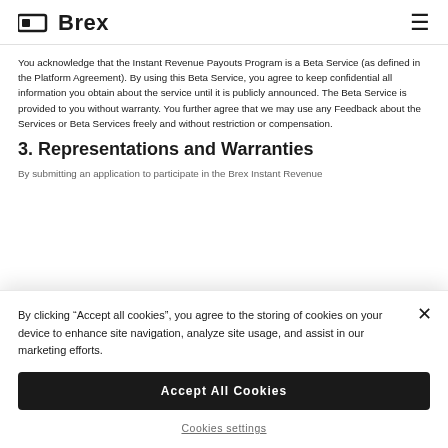Brex
You acknowledge that the Instant Revenue Payouts Program is a Beta Service (as defined in the Platform Agreement). By using this Beta Service, you agree to keep confidential all information you obtain about the service until it is publicly announced. The Beta Service is provided to you without warranty. You further agree that we may use any Feedback about the Services or Beta Services freely and without restriction or compensation.
3. Representations and Warranties
By submitting an application to participate in the Brex Instant Revenue
By clicking “Accept all cookies”, you agree to the storing of cookies on your device to enhance site navigation, analyze site usage, and assist in our marketing efforts.
Accept All Cookies
Cookies settings